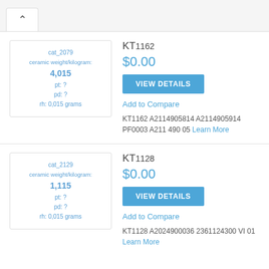^
[Figure (other): Product image box for cat_2079 showing ceramic weight/kilogram: 4,015, pt: ?, pd: ?, rh: 0,015 grams]
KT1162
$0.00
VIEW DETAILS
Add to Compare
KT1162 A2114905814 A2114905914 PF0003 A211 490 05 Learn More
[Figure (other): Product image box for cat_2129 showing ceramic weight/kilogram: 1,115, pt: ?, pd: ?, rh: 0,015 grams]
KT1128
$0.00
VIEW DETAILS
Add to Compare
KT1128 A2024900036 2361124300 VI 01 Learn More